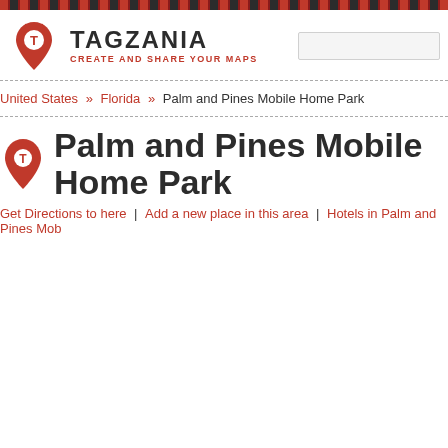[Figure (logo): Tagzania logo with red shield/pin icon and text TAGZANIA CREATE AND SHARE YOUR MAPS]
United States » Florida » Palm and Pines Mobile Home Park
Palm and Pines Mobile Home Park
Get Directions to here | Add a new place in this area | Hotels in Palm and Pines Mob...